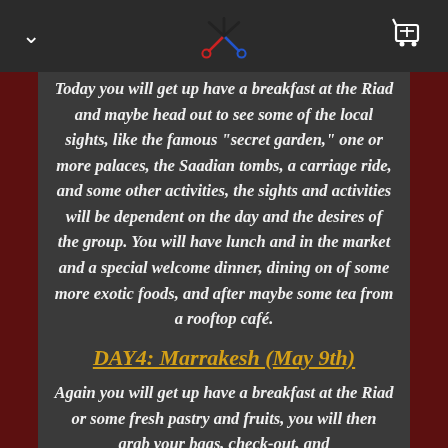Today you will get up have a breakfast at the Riad and maybe head out to see some of the local sights, like the famous "secret garden," one or more palaces, the Saadian tombs, a carriage ride, and some other activities, the sights and activities will be dependent on the day and the desires of the group. You will have lunch and in the market and a special welcome dinner, dining on of some more exotic foods, and after maybe some tea from a rooftop café.
DAY4: Marrakesh (May 9th)
Again you will get up have a breakfast at the Riad or some fresh pastry and fruits, you will then grab your bags, check-out, and